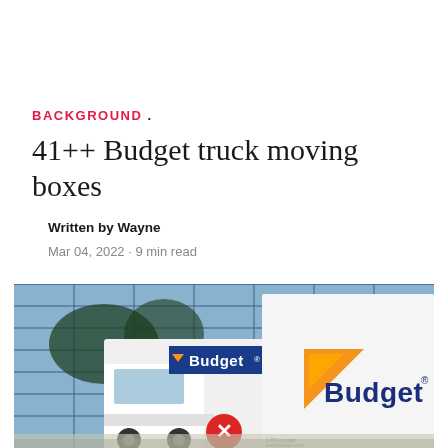BACKGROUND .
41++ Budget truck moving boxes
Written by Wayne
Mar 04, 2022 · 9 min read
[Figure (photo): Photo of Budget truck rental vehicles parked outside a commercial building with glass facade. The trucks display the Budget logo with orange chevron and blue branding on the side panels. A red circle with white X mark is visible in the lower center of the image.]